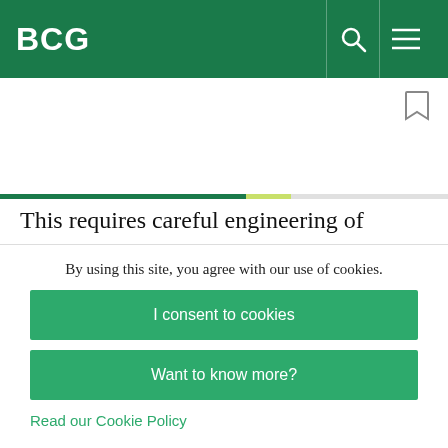BCG
This requires careful engineering of desired and undesired attrition, career lattices that are more flexible than career ladders, and accelerated progression for promising employees, which is particularly important in high-scarcity markets.
By using this site, you agree with our use of cookies.
I consent to cookies
Want to know more?
Read our Cookie Policy